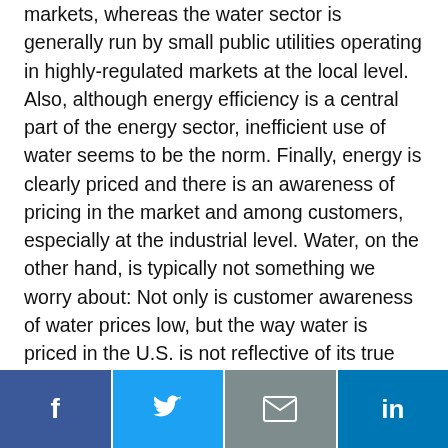markets, whereas the water sector is generally run by small public utilities operating in highly-regulated markets at the local level. Also, although energy efficiency is a central part of the energy sector, inefficient use of water seems to be the norm. Finally, energy is clearly priced and there is an awareness of pricing in the market and among customers, especially at the industrial level. Water, on the other hand, is typically not something we worry about: Not only is customer awareness of water prices low, but the way water is priced in the U.S. is not reflective of its true value.
[Figure (other): Social sharing bar with four buttons: Facebook (dark blue, f icon), Twitter (light blue, bird/t icon), Email (gray, envelope icon), LinkedIn (dark blue, 'in' icon)]